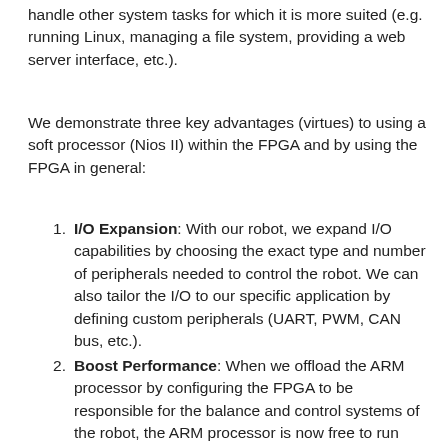handle other system tasks for which it is more suited (e.g. running Linux, managing a file system, providing a web server interface, etc.).
We demonstrate three key advantages (virtues) to using a soft processor (Nios II) within the FPGA and by using the FPGA in general:
I/O Expansion: With our robot, we expand I/O capabilities by choosing the exact type and number of peripherals needed to control the robot. We can also tailor the I/O to our specific application by defining custom peripherals (UART, PWM, CAN bus, etc.).
Boost Performance: When we offload the ARM processor by configuring the FPGA to be responsible for the balance and control systems of the robot, the ARM processor is now free to run other tasks boosting system performance or adding new capabilities.
Adapt...